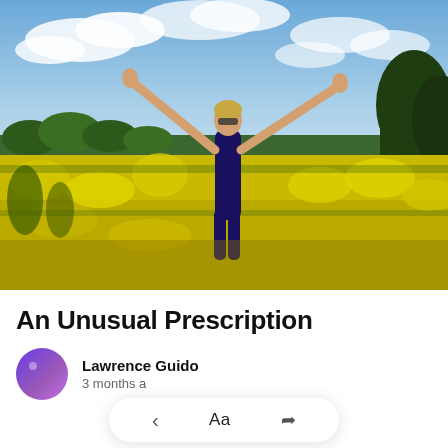[Figure (photo): A woman in a dark blue sleeveless dress standing in a field of bright yellow rapeseed flowers with arms raised joyfully, looking upward. Sky with clouds and green forested hills in the background.]
An Unusual Prescription
Lawrence Guido
3 months a